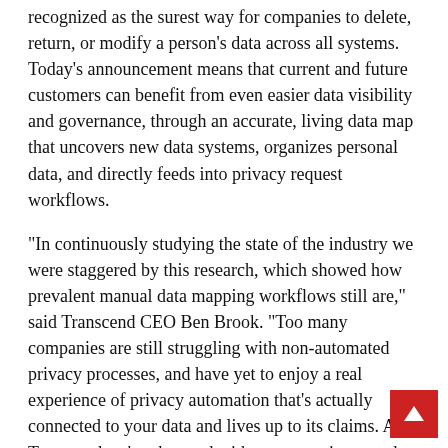recognized as the surest way for companies to delete, return, or modify a person's data across all systems. Today's announcement means that current and future customers can benefit from even easier data visibility and governance, through an accurate, living data map that uncovers new data systems, organizes personal data, and directly feeds into privacy request workflows.
“In continuously studying the state of the industry we were staggered by this research, which showed how prevalent manual data mapping workflows still are,” said Transcend CEO Ben Brook. “Too many companies are still struggling with non-automated privacy processes, and have yet to enjoy a real experience of privacy automation that’s actually connected to your data and lives up to its claims. At Transcend we’re obsessed with user experience and making privacy insanely easy. That extends to today’s Data Mapping launch,” said Brook.